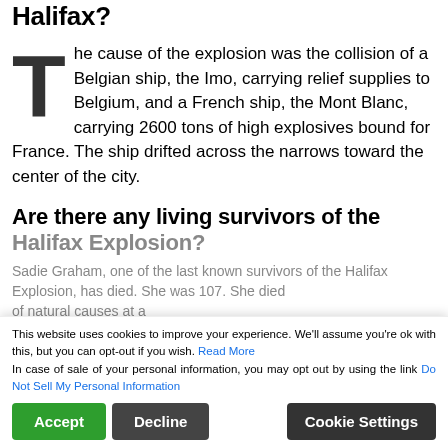What caused the explosion in Halifax?
The cause of the explosion was the collision of a Belgian ship, the Imo, carrying relief supplies to Belgium, and a French ship, the Mont Blanc, carrying 2600 tons of high explosives bound for France. The ship drifted across the narrows toward the center of the city.
Are there any living survivors of the Halifax Explosion?
Sadie Graham, one of the last known survivors of the Halifax Explosion, has died. She was 107. She died of natural causes at a Dartmouth nursing home, her son, Terry Graham,
This website uses cookies to improve your experience. We'll assume you're ok with this, but you can opt-out if you wish. Read More
In case of sale of your personal information, you may opt out by using the link Do Not Sell My Personal Information
Accept   Decline   Cookie Settings